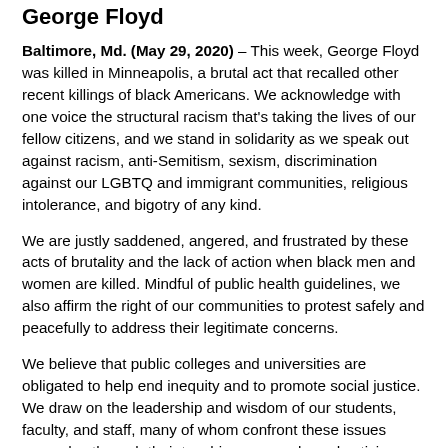George Floyd
Baltimore, Md. (May 29, 2020) – This week, George Floyd was killed in Minneapolis, a brutal act that recalled other recent killings of black Americans. We acknowledge with one voice the structural racism that's taking the lives of our fellow citizens, and we stand in solidarity as we speak out against racism, anti-Semitism, sexism, discrimination against our LGBTQ and immigrant communities, religious intolerance, and bigotry of any kind.
We are justly saddened, angered, and frustrated by these acts of brutality and the lack of action when black men and women are killed. Mindful of public health guidelines, we also affirm the right of our communities to protest safely and peacefully to address their legitimate concerns.
We believe that public colleges and universities are obligated to help end inequity and to promote social justice. We draw on the leadership and wisdom of our students, faculty, and staff, many of whom confront these issues every day through their teaching, research, and activism.